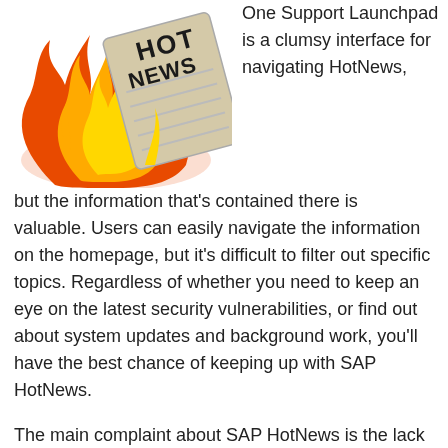[Figure (illustration): Illustration of a 'HOT NEWS' sign engulfed in orange and yellow flames, on a white background.]
One Support Launchpad is a clumsy interface for navigating HotNews, but the information that's contained there is valuable. Users can easily navigate the information on the homepage, but it's difficult to filter out specific topics. Regardless of whether you need to keep an eye on the latest security vulnerabilities, or find out about system updates and background work, you'll have the best chance of keeping up with SAP HotNews.
The main complaint about SAP HotNews is the lack of granularity. The app makes it difficult to filter and sort notifications. There is no way to determine the relevance of